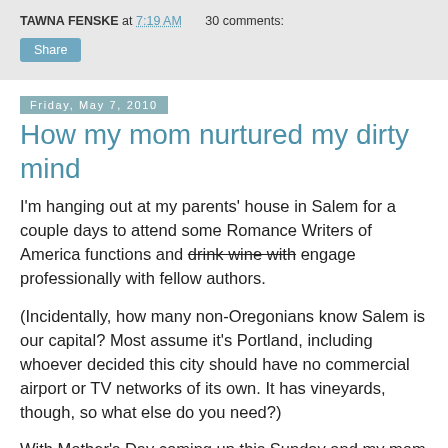TAWNA FENSKE at 7:19 AM   30 comments:
Share
Friday, May 7, 2010
How my mom nurtured my dirty mind
I'm hanging out at my parents' house in Salem for a couple days to attend some Romance Writers of America functions and drink wine with engage professionally with fellow authors.
(Incidentally, how many non-Oregonians know Salem is our capital? Most assume it's Portland, including whoever decided this city should have no commercial airport or TV networks of its own. It has vineyards, though, so what else do you need?)
With Mother's Day coming up this Sunday and my mom hovering around offering to feed me every five minutes, I've